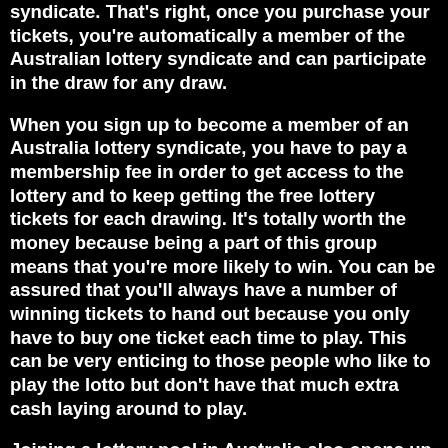syndicate. That's right, once you purchase your tickets, you're automatically a member of the Australian lottery syndicate and can participate in the draw for any draw.
When you sign up to become a member of an Australia lottery syndicate, you have to pay a membership fee in order to get access to the lottery and to keep getting the free lottery tickets for each drawing. It's totally worth the money because being a part of this group means that you're more likely to win. You can be assured that you'll always have a number of winning tickets to hand out because you only have to buy one ticket each time to play. This can be very enticing to those people who like to play the lotto but don't have that much extra cash laying around to play.
Joining a lottery pool in Australia also opens up a lot of opportunities. You won't have to worry about traveling all over the place to try and win one single lotto ticket because if you join a syndicate, you can play any